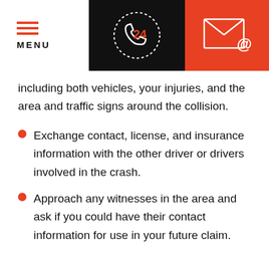[Figure (infographic): Header with three sections: left white section with hamburger menu lines and MENU text, center black section with a 24-hour phone icon (handset with '24' in orange), right orange section with an envelope/email icon]
including both vehicles, your injuries, and the area and traffic signs around the collision.
Exchange contact, license, and insurance information with the other driver or drivers involved in the crash.
Approach any witnesses in the area and ask if you could have their contact information for use in your future claim.